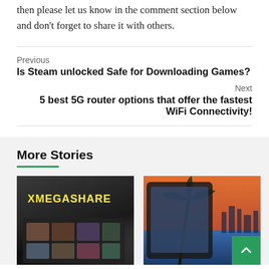then please let us know in the comment section below and don't forget to share it with others.
Previous
Is Steam unlocked Safe for Downloading Games?
Next
5 best 5G router options that offer the fastest WiFi Connectivity!
More Stories
[Figure (photo): Screenshot or logo image showing XMEGASHARE text on a dark background with a tablet showing movie content]
[Figure (photo): Tablet device showing a tropical beach scene with palm tree and city skyline]